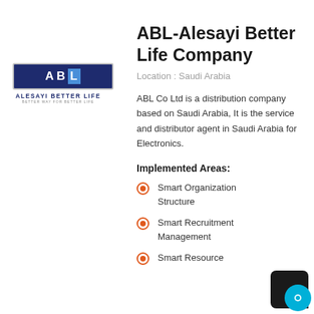[Figure (logo): ABL Alesayi Better Life company logo — dark blue square with letters A, B, L (L in light blue), tagline 'ALESAYI BETTER LIFE' below]
ABL-Alesayi Better Life Company
Location : Saudi Arabia
ABL Co Ltd is a distribution company based on Saudi Arabia, It is the service and distributor agent in Saudi Arabia for Electronics.
Implemented Areas:
Smart Organization Structure
Smart Recruitment Management
Smart Resource